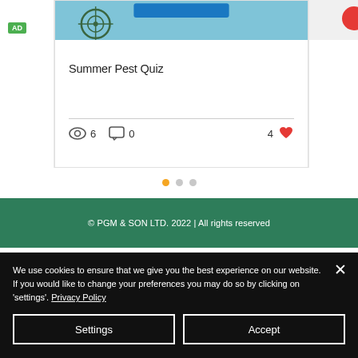[Figure (screenshot): Website card showing Summer Pest Quiz with a target/crosshair icon on teal background, views (6), comments (0), and likes (4) stats]
Summer Pest Quiz
[Figure (other): Carousel dots indicator: one orange active dot and two grey inactive dots]
© PGM & SON LTD. 2022 | All rights reserved
We use cookies to ensure that we give you the best experience on our website. If you would like to change your preferences you may do so by clicking on 'settings'. Privacy Policy
Settings
Accept